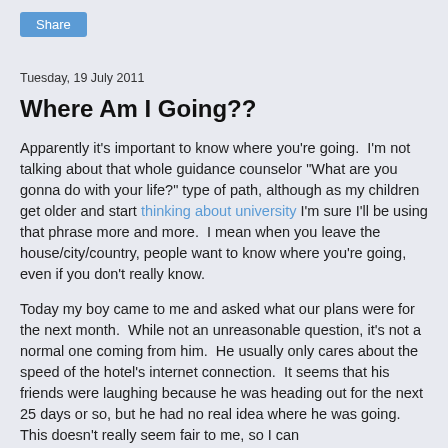[Figure (other): Share button — a blue rounded rectangle button with white text 'Share']
Tuesday, 19 July 2011
Where Am I Going??
Apparently it's important to know where you're going.  I'm not talking about that whole guidance counselor "What are you gonna do with your life?" type of path, although as my children get older and start thinking about university I'm sure I'll be using that phrase more and more.  I mean when you leave the house/city/country, people want to know where you're going, even if you don't really know.
Today my boy came to me and asked what our plans were for the next month.  While not an unreasonable question, it's not a normal one coming from him.  He usually only cares about the speed of the hotel's internet connection.  It seems that his friends were laughing because he was heading out for the next 25 days or so, but he had no real idea where he was going.  This doesn't really seem fair to me, so I can